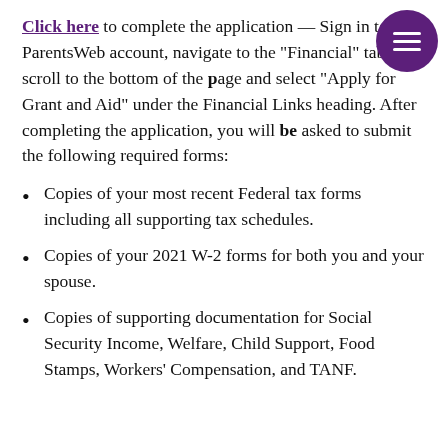Click here to complete the application — Sign in to your ParentsWeb account, navigate to the "Financial" tab then scroll to the bottom of the page and select "Apply for Grant and Aid" under the Financial Links heading. After completing the application, you will be asked to submit the following required forms:
Copies of your most recent Federal tax forms including all supporting tax schedules.
Copies of your 2021 W-2 forms for both you and your spouse.
Copies of supporting documentation for Social Security Income, Welfare, Child Support, Food Stamps, Workers' Compensation, and TANF.